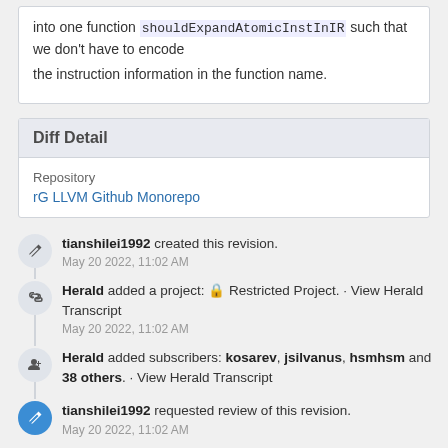into one function shouldExpandAtomicInstInIR such that we don't have to encode the instruction information in the function name.
Diff Detail
Repository
rG LLVM Github Monorepo
tianshilei1992 created this revision.
May 20 2022, 11:02 AM
Herald added a project: Restricted Project. · View Herald Transcript
May 20 2022, 11:02 AM
Herald added subscribers: kosarev, jsilvanus, hsmhsm and 38 others. · View Herald Transcript
tianshilei1992 requested review of this revision.
May 20 2022, 11:02 AM